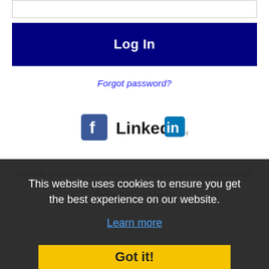[Figure (screenshot): Partial text input box at top of login form]
[Figure (screenshot): Dark navy blue Log In button]
Forgot password?
[Figure (logo): Facebook and LinkedIn social login icons]
Get the latest Idaho jobs by following @recnetID on Twitter!
Boise RSS job feeds
This website uses cookies to ensure you get the best experience on our website.
Learn more
Got it!
JOB SEEKERS